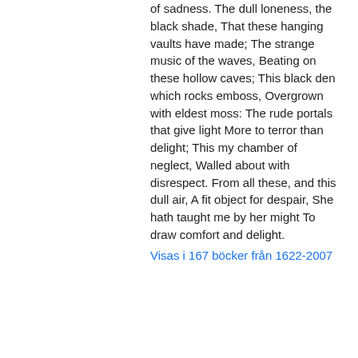of sadness. The dull loneness, the black shade, That these hanging vaults have made; The strange music of the waves, Beating on these hollow caves; This black den which rocks emboss, Overgrown with eldest moss: The rude portals that give light More to terror than delight; This my chamber of neglect, Walled about with disrespect. From all these, and this dull air, A fit object for despair, She hath taught me by her might To draw comfort and delight.
Visas i 167 böcker från 1622-2007